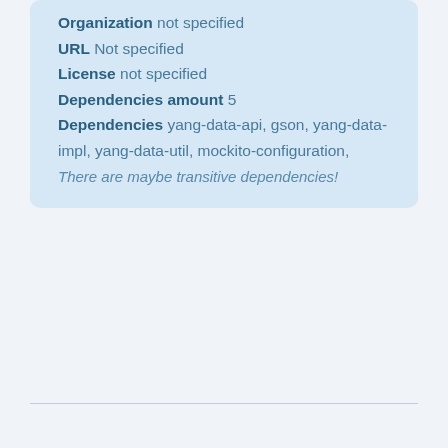Organization not specified
URL Not specified
License not specified
Dependencies amount 5
Dependencies yang-data-api, gson, yang-data-impl, yang-data-util, mockito-configuration,
There are maybe transitive dependencies!